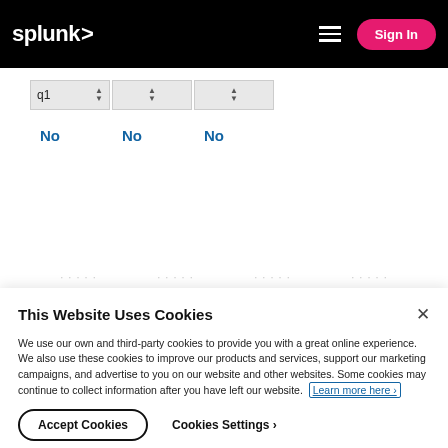splunk> Sign In
| q1 |  |  |
| --- | --- | --- |
| No | No | No |
This Website Uses Cookies
We use our own and third-party cookies to provide you with a great online experience. We also use these cookies to improve our products and services, support our marketing campaigns, and advertise to you on our website and other websites. Some cookies may continue to collect information after you have left our website. Learn more here ›
Accept Cookies   Cookies Settings ›